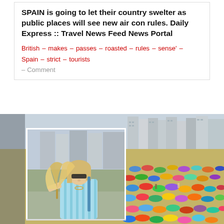SPAIN is going to let their country swelter as public places will see new air con rules. Daily Express :: Travel News Feed News Portal
British — makes — passes — roasted — rules — sense' — Spain — strict — tourists
— Comment
[Figure (photo): Two photos: left shows a blonde woman in sunglasses holding a hand fan outdoors in a sunny city setting; right shows a crowded beach in Spain (likely Benidorm) with colorful umbrellas and tall apartment buildings in the background.]